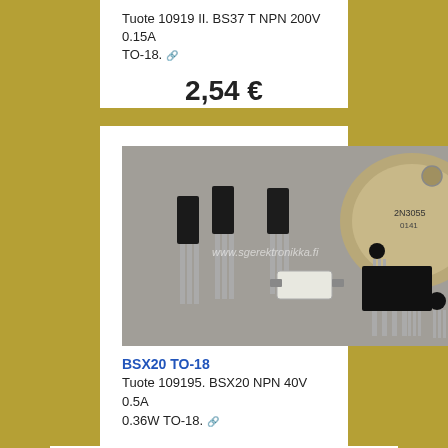Tuote 10919 II. BS37 T NPN 200V 0.15A TO-18.
2,54 €
[Figure (photo): Photo of various transistors of different package types including TO-18, TO-92, TO-220 and other through-hole packages, with watermark www.sgerektronikka.fi]
BSX20 TO-18
Tuote 109195. BSX20 NPN 40V 0.5A 0.36W TO-18.